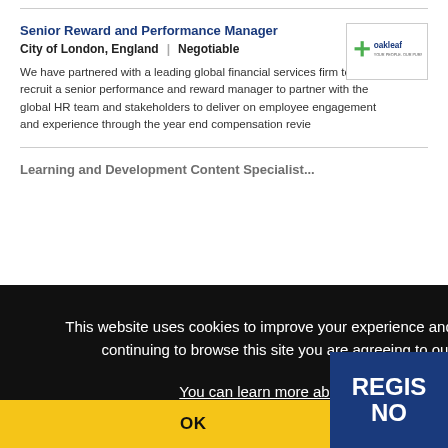Senior Reward and Performance Manager
City of London, England | Negotiable
We have partnered with a leading global financial services firm to recruit a senior performance and reward manager to partner with the global HR team and stakeholders to deliver on employee engagement and experience through the year end compensation revie
[Figure (logo): Oakleaf Partnership logo]
This website uses cookies to improve your experience and for ads personalisation. By continuing to browse this site you are agreeing to our use of these cookies.
You can learn more about the cookies we use here.
OK